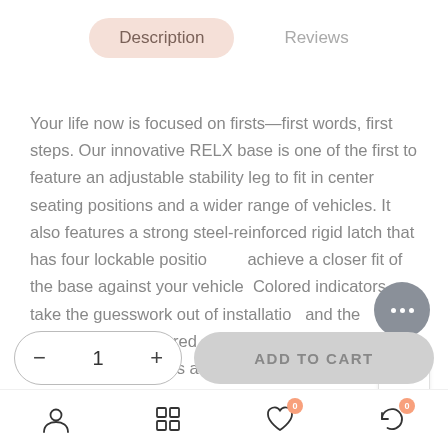Description   Reviews
Your life now is focused on firsts—first words, first steps. Our innovative RELX base is one of the first to feature an adjustable stability leg to fit in center seating positions and a wider range of vehicles. It also features a strong steel-reinforced rigid latch that has four lockable positions to achieve a closer fit of the base against your vehicle. Colored indicators take the guesswork out of installation and the bubble-free, numbered, on-the-go recline means you can change positions as your baby grows without
[Figure (screenshot): E-commerce product page showing Description/Reviews tabs, product description text, a chat widget bubble, quantity selector with minus/plus controls showing 1, ADD TO CART button, and bottom navigation icons (profile, grid, heart with badge 0, refresh with badge 0)]